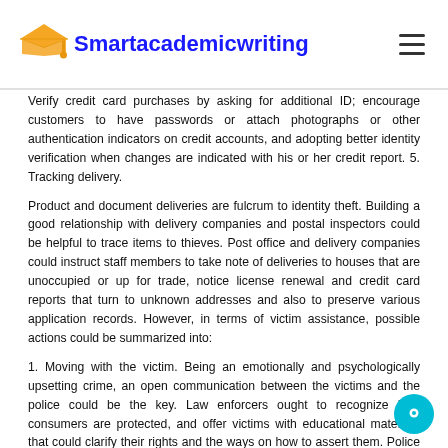Smartacademicwriting
Verify credit card purchases by asking for additional ID; encourage customers to have passwords or attach photographs or other authentication indicators on credit accounts, and adopting better identity verification when changes are indicated with his or her credit report. 5. Tracking delivery.
Product and document deliveries are fulcrum to identity theft. Building a good relationship with delivery companies and postal inspectors could be helpful to trace items to thieves. Post office and delivery companies could instruct staff members to take note of deliveries to houses that are unoccupied or up for trade, notice license renewal and credit card reports that turn to unknown addresses and also to preserve various application records. However, in terms of victim assistance, possible actions could be summarized into:
1. Moving with the victim. Being an emotionally and psychologically upsetting crime, an open communication between the victims and the police could be the key. Law enforcers ought to recognize how consumers are protected, and offer victims with educational materials that could clarify their rights and the ways on how to assert them. Police must write an incident report and provide the victim a copy of his own to avoid any trouble in filing an affidavit. The victim should acquire the Identity Theft Victim Guide.
This summarizes how to prepare for the investigation procedure and the